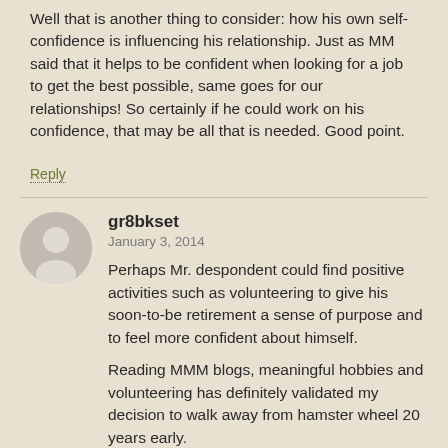Well that is another thing to consider: how his own self-confidence is influencing his relationship. Just as MM said that it helps to be confident when looking for a job to get the best possible, same goes for our relationships! So certainly if he could work on his confidence, that may be all that is needed. Good point.
Reply
gr8bkset
January 3, 2014
Perhaps Mr. despondent could find positive activities such as volunteering to give his soon-to-be retirement a sense of purpose and to feel more confident about himself.
Reading MMM blogs, meaningful hobbies and volunteering has definitely validated my decision to walk away from hamster wheel 20 years early.
Reply
Kenoryn